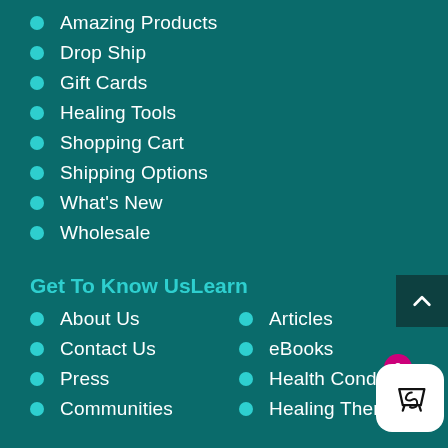Amazing Products
Drop Ship
Gift Cards
Healing Tools
Shopping Cart
Shipping Options
What's New
Wholesale
Get To Know UsLearn
About Us
Articles
Contact Us
eBooks
Press
Health Conditions
Communities
Healing Therapies